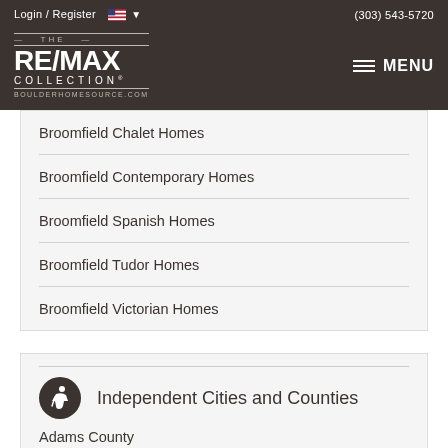Login / Register  (303) 543-5720  THE RE/MAX COLLECTION BOULDERHOMESOURCE.COM  MENU
Broomfield Chalet Homes
Broomfield Contemporary Homes
Broomfield Spanish Homes
Broomfield Tudor Homes
Broomfield Victorian Homes
Independent Cities and Counties
Adams County